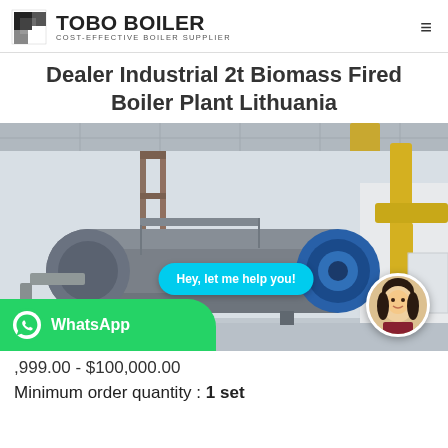TOBO BOILER COST-EFFECTIVE BOILER SUPPLIER
Dealer Industrial 2t Biomass Fired Boiler Plant Lithuania
[Figure (photo): Industrial boiler plant interior showing a large horizontal cylindrical boiler with yellow pipes, overhead structure, with a chat bubble overlay saying 'Hey, let me help you!' and an avatar, plus a WhatsApp button overlay.]
,999.00 - $100,000.00
Minimum order quantity : 1 set